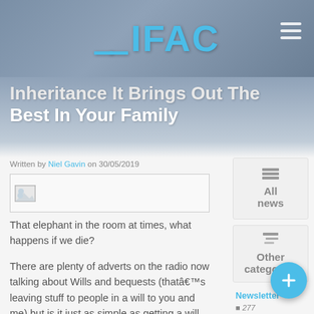≡IFAC
Inheritance It Brings Out The Best In Your Family
Written by Niel Gavin on 30/05/2019
[Figure (photo): Broken/placeholder image thumbnail]
That elephant in the room at times, what happens if we die?
There are plenty of adverts on the radio now talking about Wills and bequests (thatâ€™s leaving stuff to people in a will to you and me) but is it just as simple as getting a will sorted? Leaving your estate I meanâ€¦..
All news
Other categories
Newsletter 277 entries.
IFA 116 entries.